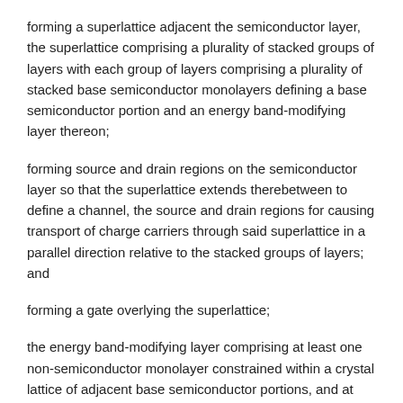forming a superlattice adjacent the semiconductor layer, the superlattice comprising a plurality of stacked groups of layers with each group of layers comprising a plurality of stacked base semiconductor monolayers defining a base semiconductor portion and an energy band-modifying layer thereon;
forming source and drain regions on the semiconductor layer so that the superlattice extends therebetween to define a channel, the source and drain regions for causing transport of charge carriers through said superlattice in a parallel direction relative to the stacked groups of layers; and
forming a gate overlying the superlattice;
the energy band-modifying layer comprising at least one non-semiconductor monolayer constrained within a crystal lattice of adjacent base semiconductor portions, and at least some semiconductor atoms from opposing base semiconductor portions being chemically bound together with the chemical bonds traversing the at least one non-semiconductor monolayer therebetween.